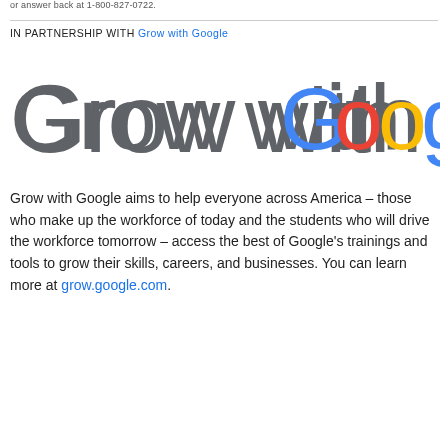or answer back at 1-800-827-0722.
IN PARTNERSHIP WITH Grow with Google
[Figure (logo): Grow with Google logo — large stylized text reading 'Grow with Google' where 'Grow with' is in dark gray and 'Google' uses the Google brand colors (blue G, red o, yellow o, blue g, green l, red e)]
Grow with Google aims to help everyone across America – those who make up the workforce of today and the students who will drive the workforce tomorrow – access the best of Google's trainings and tools to grow their skills, careers, and businesses. You can learn more at grow.google.com.